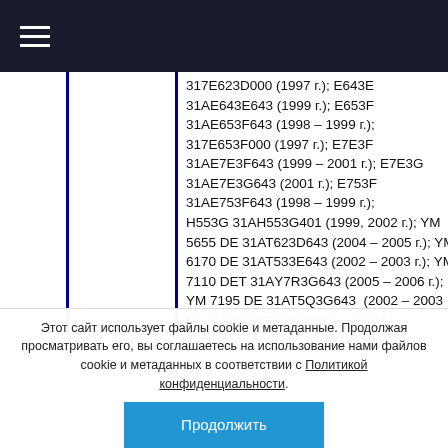≡
|  |  | 317E623D000 (1997 г.); Е643Е 31АЕ643Е643 (1999 г.); Е653F 31АЕ653F643 (1998 – 1999 г.); 317Е653F000 (1997 г.); Е7Е3F 31АЕ7Е3F643 (1999 – 2001 г.); Е7Е3G 31АЕ7Е3G643 (2001 г.); Е753F 31АЕ753F643 (1998 – 1999 г.); Н553G 31АН553G401 (1999, 2002 г.); YM 5655 DE 31АТ623D643 (2004 – 2005 г.); YM 6170 DE 31АТ533Е643 (2002 – 2003 г.); YM 7110 DET 31АY7R3G643 (2005 – 2006 г.); YM 7195 DE 31АТ5Q3G643 (2002 – 2003 г.), 31АТ7Q3G643 (2002 – 2003 г.) |  |
Этот сайт использует файлы cookie и метаданные. Продолжая просматривать его, вы соглашаетесь на использование нами файлов cookie и метаданных в соответствии с Политикой конфиденциальности.
Продолжить